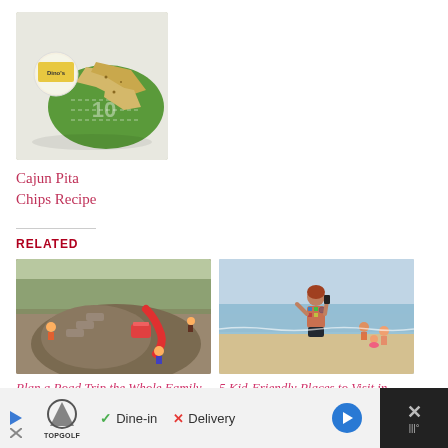[Figure (photo): Overhead photo of Cajun pita chips on a green football field-themed napkin with a Dino's dipping sauce container]
Cajun Pita Chips Recipe
RELATED
[Figure (photo): Photo of children on a large rock playground slide in a wooded park]
Plan a Road Trip the Whole Family will Love
March.23.2017
[Figure (photo): Photo of a woman in a bikini taking a photo at a beach, with children in the background near the water]
5 Kid-Friendly Places to Visit in Florida
July.15.2015
Dine-in  Delivery  [Topgolf ad bar]